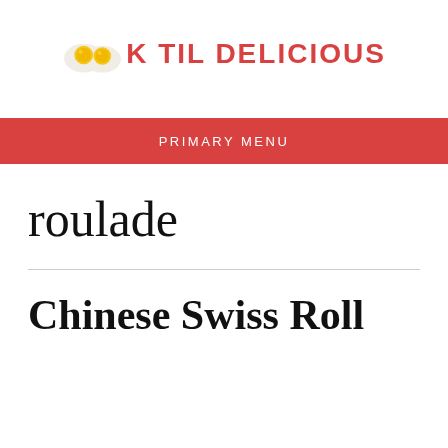[Figure (logo): Cook Til Delicious logo: two fried eggs graphic with text 'COOK TIL DELICIOUS' in bold red uppercase letters]
PRIMARY MENU
roulade
Chinese Swiss Roll